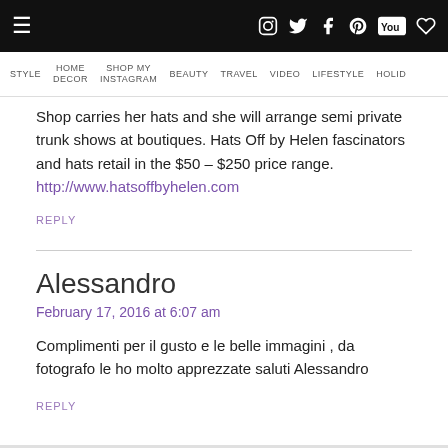≡  [social icons]  STYLE  HOME DECOR  SHOP MY INSTAGRAM  BEAUTY  TRAVEL  VIDEO  LIFESTYLE  HOLID…
Shop carries her hats and she will arrange semi private trunk shows at boutiques. Hats Off by Helen fascinators and hats retail in the $50 – $250 price range. http://www.hatsoffbyhelen.com
REPLY
Alessandro
February 17, 2016 at 6:07 am
Complimenti per il gusto e le belle immagini , da fotografo le ho molto apprezzate saluti Alessandro
REPLY